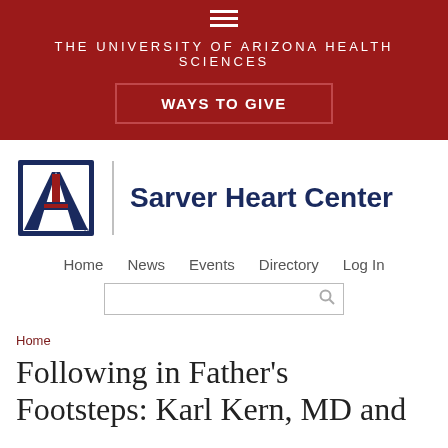THE UNIVERSITY OF ARIZONA HEALTH SCIENCES
WAYS TO GIVE
[Figure (logo): University of Arizona 'A' logo with Sarver Heart Center text]
Home   News   Events   Directory   Log In
Home
Following in Father's Footsteps: Karl Kern, MD and